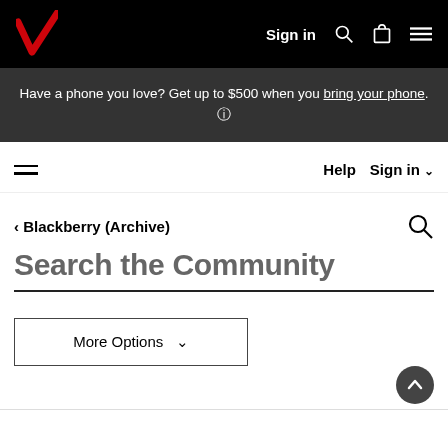Verizon - Sign in
Have a phone you love? Get up to $500 when you bring your phone. (i)
Help  Sign in
< Blackberry (Archive)
Search the Community
More Options